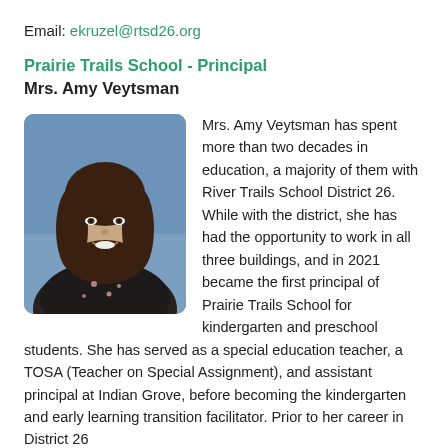Email: ekruzel@rtsd26.org
Prairie Trails School - Principal
Mrs. Amy Veytsman
[Figure (photo): Professional headshot of Mrs. Amy Veytsman, a woman with long dark hair, smiling, wearing a dark floral blouse, against a blue background.]
Mrs. Amy Veytsman has spent more than two decades in education, a majority of them with River Trails School District 26. While with the district, she has had the opportunity to work in all three buildings, and in 2021 became the first principal of Prairie Trails School for kindergarten and preschool students. She has served as a special education teacher, a TOSA (Teacher on Special Assignment), and assistant principal at Indian Grove, before becoming the kindergarten and early learning transition facilitator. Prior to her career in District 26